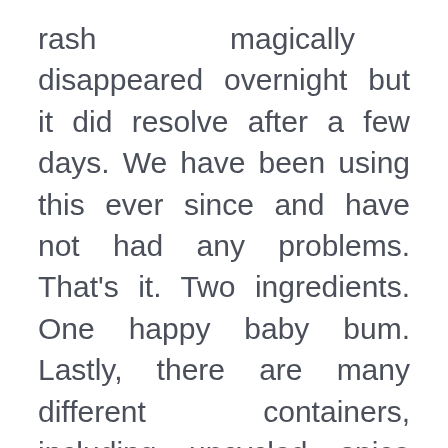rash magically disappeared overnight but it did resolve after a few days. We have been using this ever since and have not had any problems. That's it. Two ingredients. One happy baby bum. Lastly, there are many different containers, including upcycled spice dispensers, that you can use to store and dispense your baby powder but I find that something with a sifter lid works best to get a light and even dusting. I purchased mine